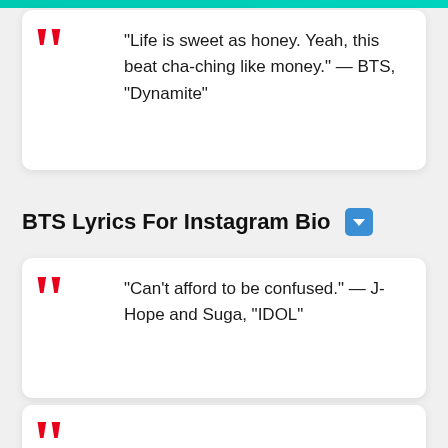“Life is sweet as honey. Yeah, this beat cha-ching like money.” — BTS, “Dynamite”
BTS Lyrics For Instagram Bio ⬇️
“Can’t afford to be confused.” — J-Hope and Suga, “IDOL”
(partial quote block)